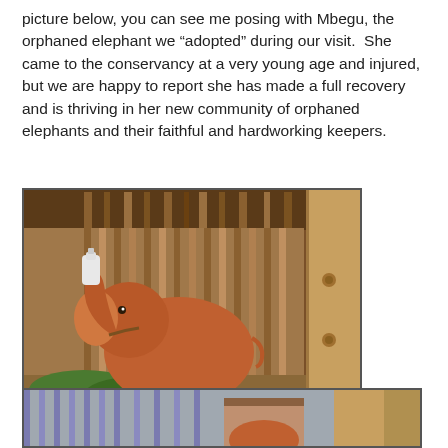picture below, you can see me posing with Mbegu, the orphaned elephant we “adopted” during our visit.  She came to the conservancy at a very young age and injured, but we are happy to report she has made a full recovery and is thriving in her new community of orphaned elephants and their faithful and hardworking keepers.
[Figure (photo): A young reddish-brown elephant inside a wooden enclosure/stable, reaching its trunk up toward a milk bottle. Green leafy branches are on the ground in front. Wooden fence slats and a large wooden post are visible in the background.]
[Figure (photo): Partial view of another photograph showing what appears to be a fenced enclosure, partially visible at the bottom of the page.]